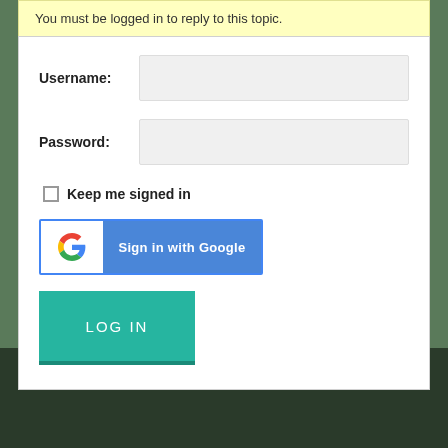You must be logged in to reply to this topic.
Username:
Password:
Keep me signed in
[Figure (logo): Sign in with Google button with Google G logo]
LOG IN